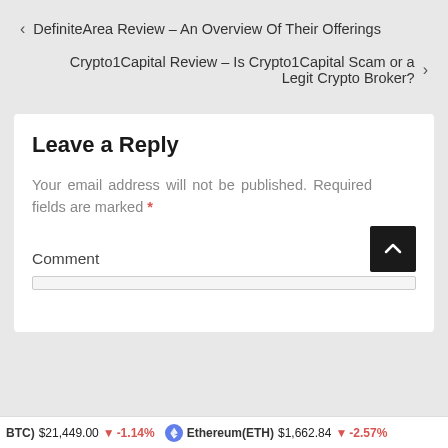< DefiniteArea Review – An Overview Of Their Offerings
Crypto1Capital Review – Is Crypto1Capital Scam or a Legit Crypto Broker? >
Leave a Reply
Your email address will not be published. Required fields are marked *
Comment *
Bitcoin(BTC) $21,449.00 ↓ -1.14%   Ethereum(ETH) $1,662.84 ↓ -2.57%